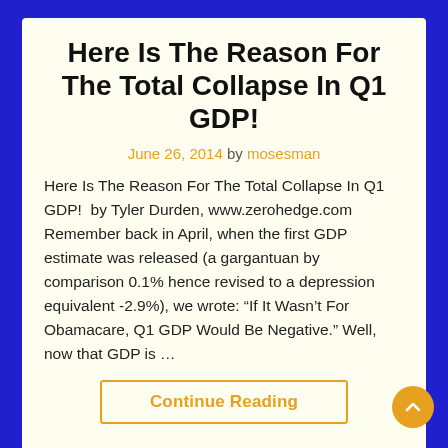Here Is The Reason For The Total Collapse In Q1 GDP!
June 26, 2014 by mosesman
Here Is The Reason For The Total Collapse In Q1 GDP!  by Tyler Durden, www.zerohedge.com Remember back in April, when the first GDP estimate was released (a gargantuan by comparison 0.1% hence revised to a depression equivalent -2.9%), we wrote: “If It Wasn’t For Obamacare, Q1 GDP Would Be Negative.” Well, now that GDP is …
Continue Reading